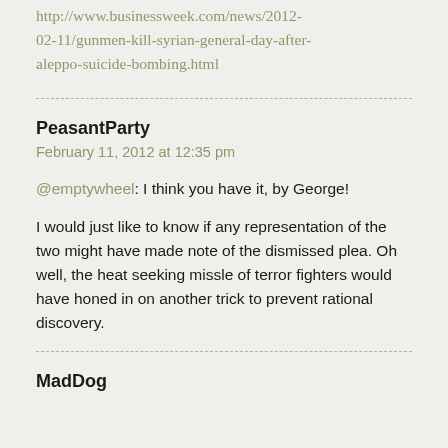http://www.businessweek.com/news/2012-02-11/gunmen-kill-syrian-general-day-after-aleppo-suicide-bombing.html
PeasantParty
February 11, 2012 at 12:35 pm
@emptywheel: I think you have it, by George!
I would just like to know if any representation of the two might have made note of the dismissed plea. Oh well, the heat seeking missle of terror fighters would have honed in on another trick to prevent rational discovery.
MadDog